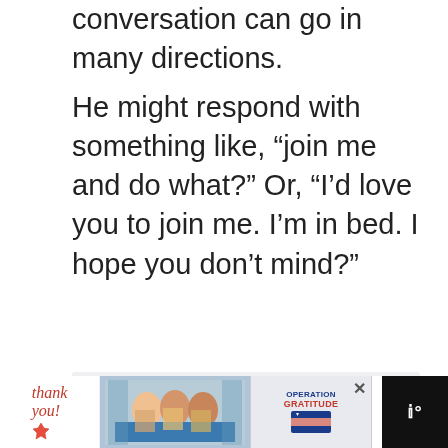conversation can go in many directions.
He might respond with something like, “join me and do what?” Or, “I’d love you to join me. I’m in bed. I hope you don’t mind?”
[Figure (screenshot): Grey placeholder content area with heart/like button (teal circle), share button (white circle with share icon), and 'WHAT'S NEXT' panel showing a thumbnail and text 'Don't Text Him And He Will...']
[Figure (screenshot): Advertisement bar at bottom: 'Thank you!' text with star/pencil, photo of masked healthcare workers, Operation Gratitude logo, close button, and white 'W' logo on black background]